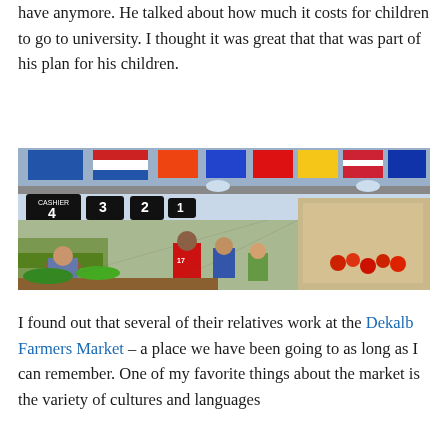have anymore. He talked about how much it costs for children to go to university. I thought it was great that that was part of his plan for his children.
[Figure (photo): A busy indoor farmers market with colorful flags hanging from the ceiling, numbered cashier signs (1-4), crowded aisles with shoppers, fresh produce and vegetables on display, and refrigerated sections on the right side.]
I found out that several of their relatives work at the Dekalb Farmers Market – a place we have been going to as long as I can remember. One of my favorite things about the market is the variety of cultures and languages